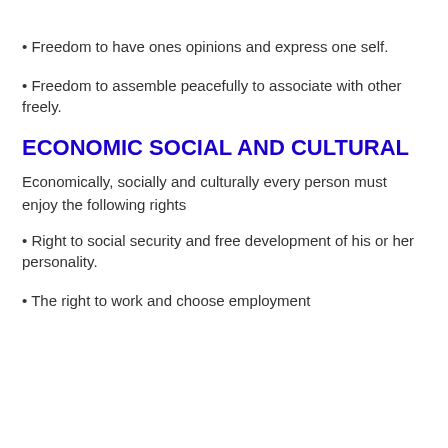• Freedom to have ones opinions and express one self.
• Freedom to assemble peacefully to associate with other freely.
ECONOMIC SOCIAL AND CULTURAL
Economically, socially and culturally every person must enjoy the following rights
• Right to social security and free development of his or her personality.
• The right to work and choose employment